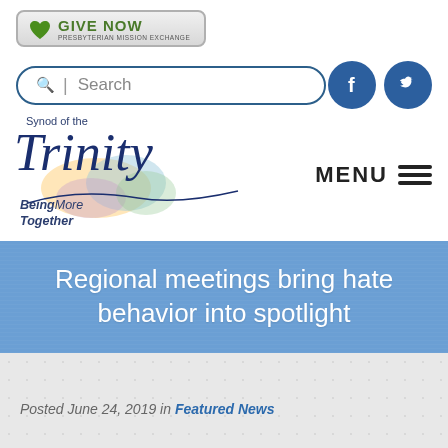[Figure (logo): Give Now button for Presbyterian Mission Exchange with green heart icon]
[Figure (screenshot): Search box with magnifying glass icon and text 'Search', alongside Facebook and Twitter social media icons]
[Figure (logo): Synod of the Trinity logo with script Trinity text and tagline 'Being More Together']
MENU
Regional meetings bring hate behavior into spotlight
Posted June 24, 2019 in Featured News